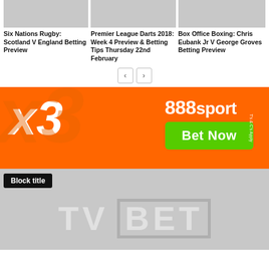[Figure (photo): Three article cards with gray placeholder images. Left: Six Nations Rugby: Scotland V England Betting Preview. Middle: Premier League Darts 2018: Week 4 Preview & Betting Tips Thursday 22nd February. Right: Box Office Boxing: Chris Eubank Jr V George Groves Betting Preview.]
Six Nations Rugby: Scotland V England Betting Preview
Premier League Darts 2018: Week 4 Preview & Betting Tips Thursday 22nd February
Box Office Boxing: Chris Eubank Jr V George Groves Betting Preview
[Figure (illustration): 888sport x3 bet now banner advertisement. Orange background with large x3 graphic on left, 888sport logo and green Bet Now button on right. T's & C's Apply text on far right vertical.]
Block title
[Figure (logo): TV BET logo watermark in gray on gray background]